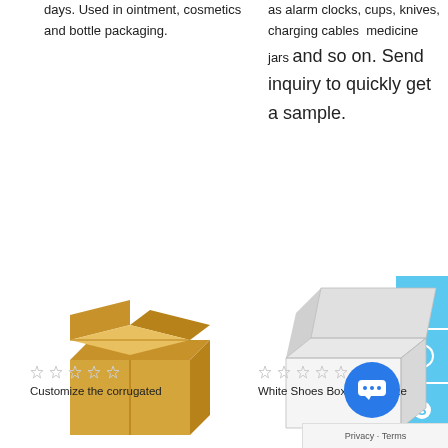days. Used in ointment, cosmetics and bottle packaging.
as alarm clocks, cups, knives, charging cables  medicine jars and so on. Send inquiry to quickly get a sample.
[Figure (photo): Open corrugated cardboard brown shipping box]
[Figure (photo): Open white corrugated mailer box]
Customize 1000pcs High Quality Printed Corrugated Mailer Cartons For Move
Custom 1000pcs CMYK... High Quality Corrugated White Shoes Box Ma...
Customize the corrugated
White Shoes Box, Customize